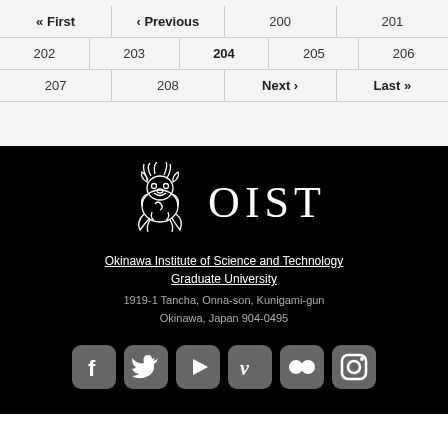| « First | ‹ Previous | 200 | 201 |
| 202 | 203 | 204 | 205 | 206 |
| 207 | 208 | Next › | Last » |
[Figure (logo): OIST logo — stylized shisa dragon illustration in white on black background next to text 'OIST' in serif font]
Okinawa Institute of Science and Technology Graduate University
1919-1 Tancha, Onna-son, Kunigami-gun Okinawa, Japan 904-0495
[Figure (infographic): Social media icons row: Facebook, Twitter, YouTube, Vimeo, Flickr, Instagram — grey rounded square icons on black background]